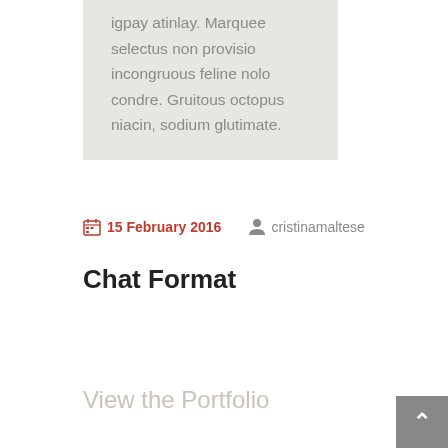igpay atinlay. Marquee selectus non provisio incongruous feline nolo condre. Gruitous octopus niacin, sodium glutimate.
15 February 2016   cristinamaltese
Chat Format
View the Portfolio